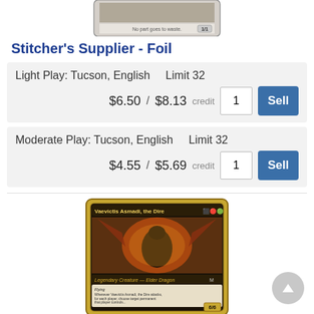[Figure (illustration): Magic: The Gathering card image (Stitcher's Supplier) shown at top, partially cropped]
Stitcher's Supplier - Foil
Light Play: Tucson, English    Limit 32
$6.50 / $8.13 credit   1   Sell
Moderate Play: Tucson, English    Limit 32
$4.55 / $5.69 credit   1   Sell
[Figure (illustration): Magic: The Gathering card image (Vaevictis Asmadi, the Dire) — Legendary Creature Elder Dragon, 6/6]